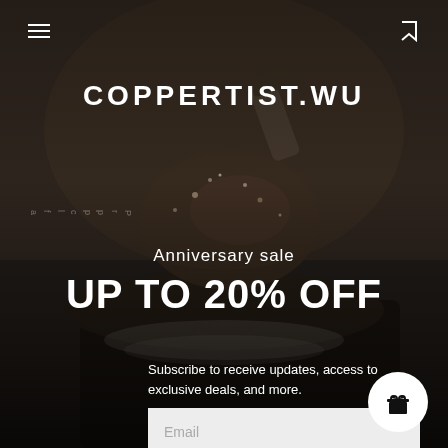[Figure (photo): Dark background photo of a craftsman hammering metal on an anvil, with sparks and copper/metal shavings flying. Tools visible in background.]
COPPERTIST.WU
Anniversary sale
UP TO 20% OFF
Subscribe to receive updates, access to exclusive deals, and more.
Email
JOIN THE CREW